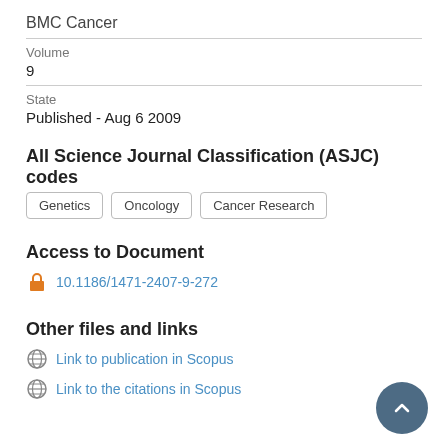BMC Cancer
Volume
9
State
Published - Aug 6 2009
All Science Journal Classification (ASJC) codes
Genetics
Oncology
Cancer Research
Access to Document
10.1186/1471-2407-9-272
Other files and links
Link to publication in Scopus
Link to the citations in Scopus